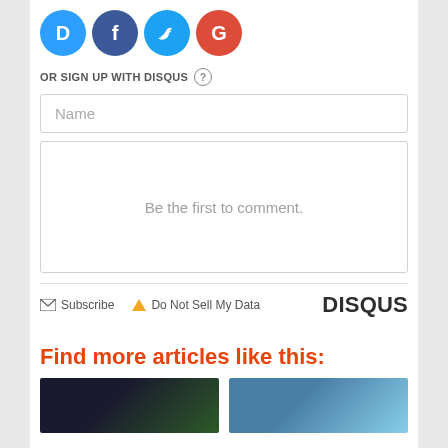[Figure (illustration): Social login icons: Disqus (D, cyan), Facebook (f, dark blue), Twitter (bird, light blue), Google (G, red) as colored circles]
OR SIGN UP WITH DISQUS ?
[Figure (screenshot): Name text input field with placeholder text 'Name']
Be the first to comment.
Subscribe   Do Not Sell My Data   DISQUS
Find more articles like this:
[Figure (photo): Two thumbnail images side by side at the bottom of the page]